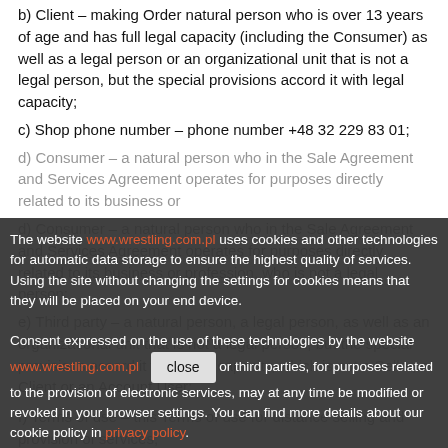b) Client – making Order natural person who is over 13 years of age and has full legal capacity (including the Consumer) as well as a legal person or an organizational unit that is not a legal person, but the special provisions accord it with legal capacity;
c) Shop phone number – phone number +48 32 229 83 01;
d) Consumer – a natural person who in the Sale Agreement and Services Agreement operates for purposes directly related to its business or profession, who is not a legal person;
The website www.wrestling.com.pl uses cookies and other technologies for automatic data storage to ensure the highest quality of services. Using the site without changing the settings for cookies means that they will be placed on your end device. Consent expressed on the use of these technologies by the website www.wrestling.com.pl or third parties, for purposes related to the provision of electronic services, may at any time be modified or revoked in your browser settings. You can find more details about our cookie policy in privacy policy.
e) Third party – a natural person, a legal person, as well as an organizational unit that is not a legal person, but the special provisions accord it with legal capacity, which is not a Seller, a Client or an Account User;
f) Terms of use – this Terms of use for distance selling and provision of services;